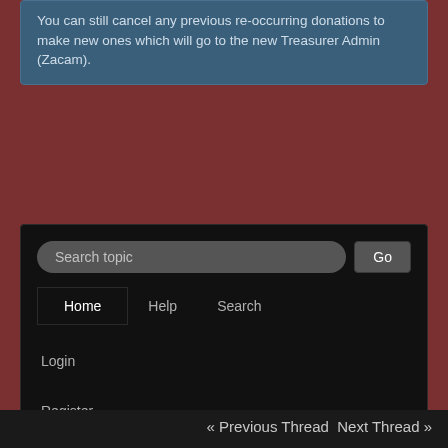You can still cancel any previous re-occurring donations to make new ones which will go to the new Treasurer Admin (Zacam).
[Figure (screenshot): Forum navigation panel with search bar, Home/Help/Search links, Login, and Register options on dark background]
Hard Light Productions Forums » Hosted Projects - FS2 Required » Just Another Day (Moderator: Axem) » Topic: Just Another Day Development Blog
« Previous Thread Next Thread »